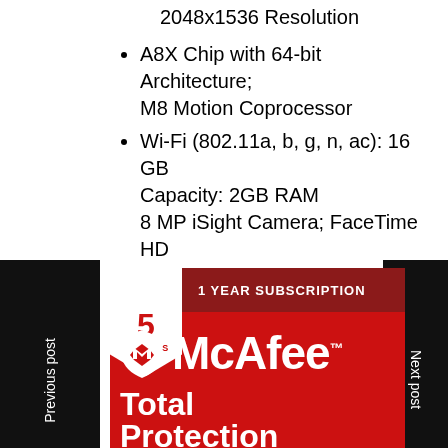2048x1536 Resolution
A8X Chip with 64-bit Architecture; M8 Motion Coprocessor
Wi-Fi (802.11a, b, g, n, ac): 16 GB Capacity: 2GB RAM
8 MP iSight Camera; FaceTime HD Camera - Up to 10 Hours of Battery Life
[Figure (photo): McAfee Total Protection 5 Devices 1 Year Subscription product box with red background and white logo]